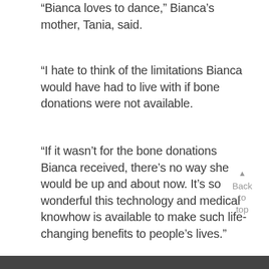“Bianca loves to dance,” Bianca’s mother, Tania, said.
“I hate to think of the limitations Bianca would have had to live with if bone donations were not available.
“If it wasn’t for the bone donations Bianca received, there’s no way she would be up and about now. It’s so wonderful this technology and medical knowhow is available to make such life-changing benefits to people’s lives.”
Back to top